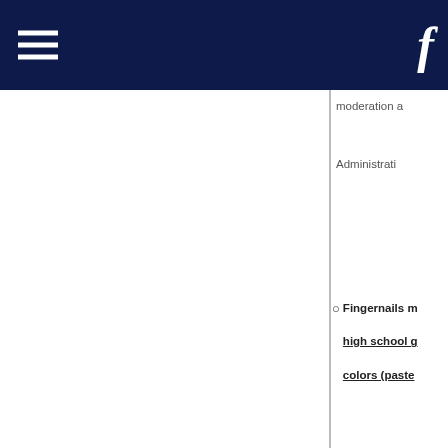☰  f
moderation a
Administrati
Fingernails m high school g colors (paste
Hair must be no unnatural writings/desi The Adminis determine the